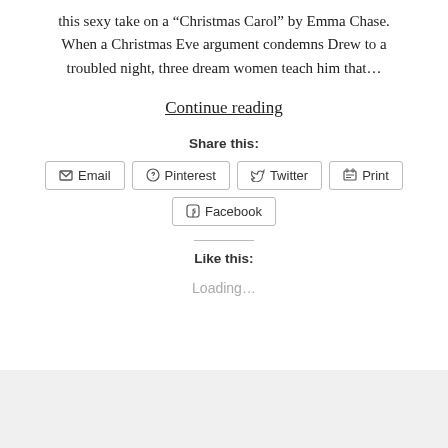this sexy take on a "Christmas Carol" by Emma Chase. When a Christmas Eve argument condemns Drew to a troubled night, three dream women teach him that…
Continue reading
Share this:
Email | Pinterest | Twitter | Print | Facebook
Like this:
Loading...